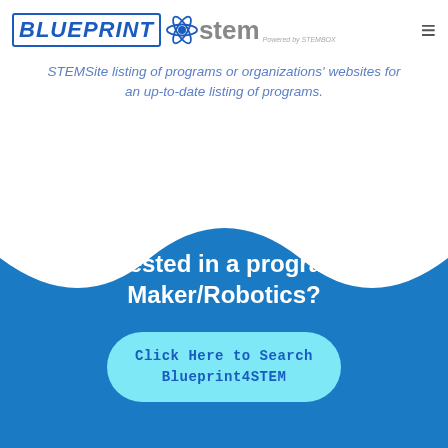Blueprint4STEM — Powered by STEMBOX
STEMSite listing of programs or organizations' websites for an up-to-date listing of programs.
[Figure (illustration): Blue wave shape decorative divider transitioning from white background above to solid blue background below]
Interested in a program in Maker/Robotics?
Click Here to Search Blueprint4STEM